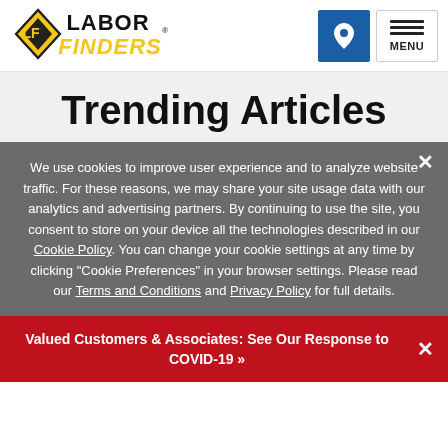[Figure (logo): Labor Finders logo with diamond LF icon in black/yellow and bold text 'LABOR FINDERS' in black with yellow accent]
Trending Articles
We use cookies to improve user experience and to analyze website traffic. For these reasons, we may share your site usage data with our analytics and advertising partners. By continuing to use the site, you consent to store on your device all the technologies described in our Cookie Policy. You can change your cookie settings at any time by clicking "Cookie Preferences" in your browser settings. Please read our Terms and Conditions and Privacy Policy for full details.
Valued Customers & Associates: See Our Response to COVID-19 »